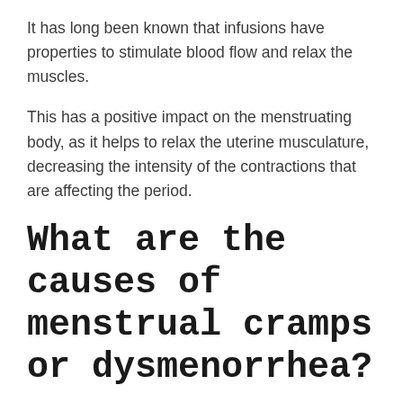It has long been known that infusions have properties to stimulate blood flow and relax the muscles.
This has a positive impact on the menstruating body, as it helps to relax the uterine musculature, decreasing the intensity of the contractions that are affecting the period.
What are the causes of menstrual cramps or dysmenorrhea?
Among the factors that are related to the presence